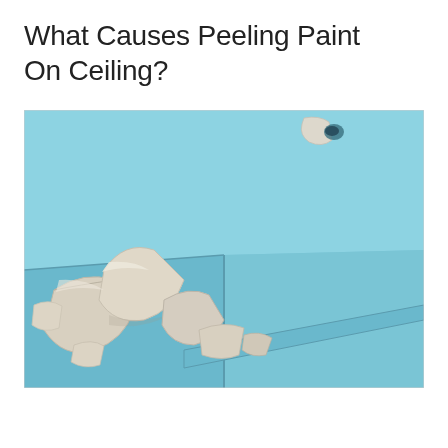What Causes Peeling Paint On Ceiling?
[Figure (photo): A corner of a room showing severely peeling light blue paint. Large curled and broken pieces of pale blue paint are peeling away from the wall and ceiling junction, revealing a white/grey substrate beneath. A baseboard or trim piece runs diagonally across the lower right portion of the image. The background surfaces are light blue.]